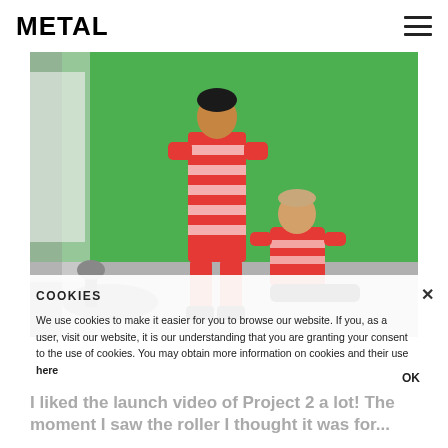METAL
[Figure (photo): Two people wearing matching red and white Christmas-patterned onesies in front of a green screen background. One person is standing, another is seated on the floor.]
COOKIES
We use cookies to make it easier for you to browse our website. If you, as a user, visit our website, it is our understanding that you are granting your consent to the use of cookies. You may obtain more information on cookies and their use here
I liked the launch video of Project 2 a lot! The moment I saw the roller I thought it was for...